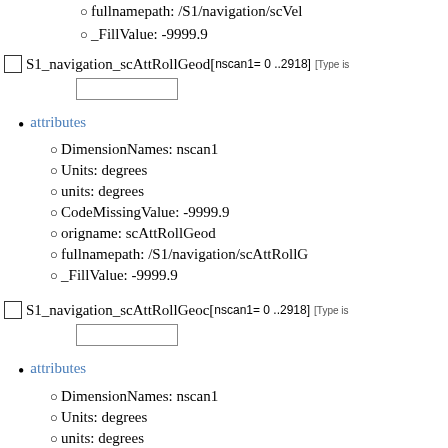fullnamepath: /S1/navigation/scVel
_FillValue: -9999.9
S1_navigation_scAttRollGeod[ nscan1= 0 ..2918]  [Type is...]
attributes
DimensionNames: nscan1
Units: degrees
units: degrees
CodeMissingValue: -9999.9
origname: scAttRollGeod
fullnamepath: /S1/navigation/scAttRollG
_FillValue: -9999.9
S1_navigation_scAttRollGeoc[ nscan1= 0 ..2918]  [Type is...]
attributes
DimensionNames: nscan1
Units: degrees
units: degrees
CodeMissingValue: -9999.9
origname: scAttRollGeoc
fullnamepath: /S1/navigation/scAttRollG